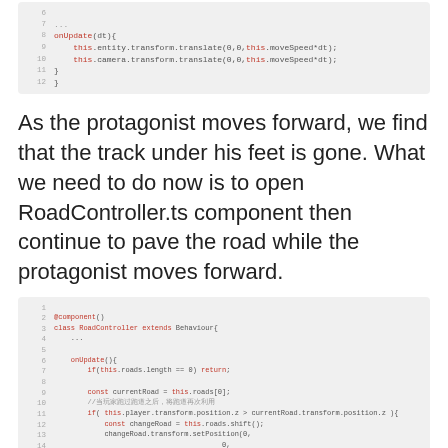[Figure (screenshot): Code snippet showing onUpdate(dt) method with entity and camera transform translate calls, lines 7-12]
As the protagonist moves forward, we find that the track under his feet is gone. What we need to do now is to open RoadController.ts component then continue to pave the road while the protagonist moves forward.
[Figure (screenshot): Code snippet showing RoadController class extending Behaviour with onUpdate method, roads management logic, and transform position handling, lines 1-19]